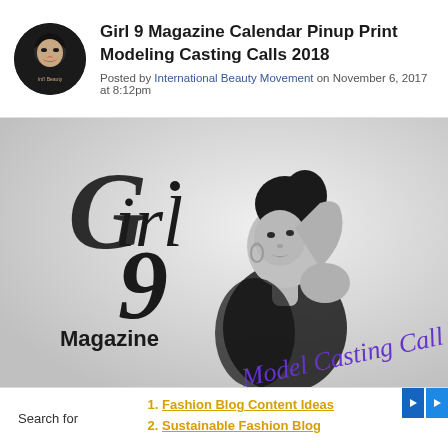Girl 9 Magazine Calendar Pinup Print Modeling Casting Calls 2018
Posted by International Beauty Movement on November 6, 2017 at 8:12pm
[Figure (photo): Girl 9 Magazine Model Casting Call promotional image with a young woman in black and white photo, decorative script logo saying 'Girl 9 Magazine' and text 'Model Casting Call' in purple script]
Search for
Fashion Blog Content Ideas
Sustainable Fashion Blog